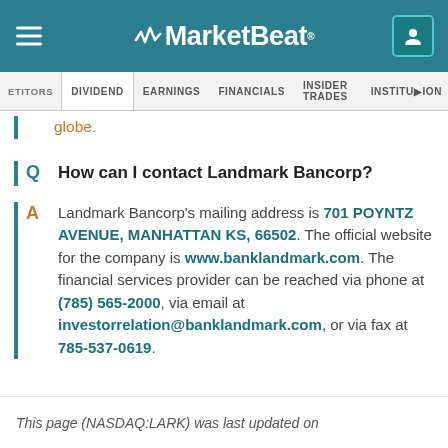MarketBeat
ETITORS | DIVIDEND | EARNINGS | FINANCIALS | INSIDER TRADES | INSTITUTION
globe.
Q   How can I contact Landmark Bancorp?
A   Landmark Bancorp's mailing address is 701 POYNTZ AVENUE, MANHATTAN KS, 66502. The official website for the company is www.banklandmark.com. The financial services provider can be reached via phone at (785) 565-2000, via email at investorrelation@banklandmark.com, or via fax at 785-537-0619.
This page (NASDAQ:LARK) was last updated on